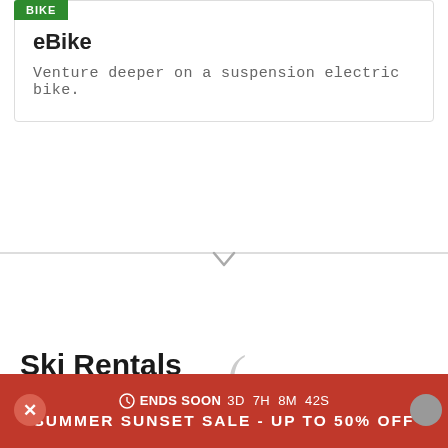[Figure (other): Green label tag reading 'BIKE' partially visible at top left of card]
eBike
Venture deeper on a suspension electric bike.
Ski Rentals
Looking for the best ski rental service? Want to demo some of the latest and greatest skis and try before you buy? Look no further than evo - our fleet has some of the nicest rental and demo skis around. Buying new skis isn't cheap, that's why demoing is a great way to make sure you'll love your new skis. Or maybe you haven't
ENDS SOON 3D  7H  8M  42S
SUMMER SUNSET SALE - UP TO 50% OFF